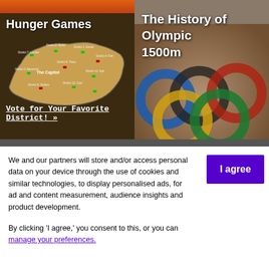[Figure (infographic): Hunger Games infographic showing a map of Panem districts with vote for your favorite district call to action]
[Figure (photo): Blurred photo of Olympic rings - colorful rings on sandy background, with title The History of Olympic 1500m]
We and our partners will store and/or access personal data on your device through the use of cookies and similar technologies, to display personalised ads, for ad and content measurement, audience insights and product development.

By clicking 'I agree,' you consent to this, or you can manage your preferences.